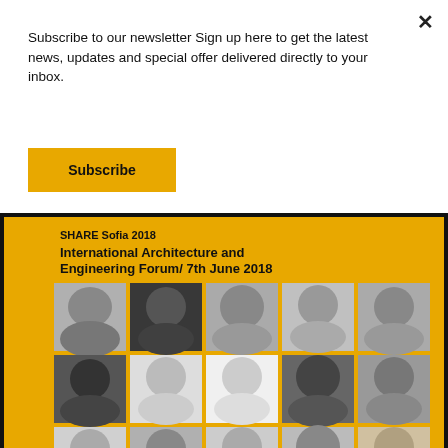Subscribe to our newsletter Sign up here to get the latest news, updates and special offer delivered directly to your inbox.
Subscribe
[Figure (infographic): SHARE Sofia 2018 International Architecture and Engineering Forum / 7th June 2018 banner with a 5x3 grid of speaker portrait photos in black and white on a yellow/golden background, with a SHARE architects logo in the bottom right corner.]